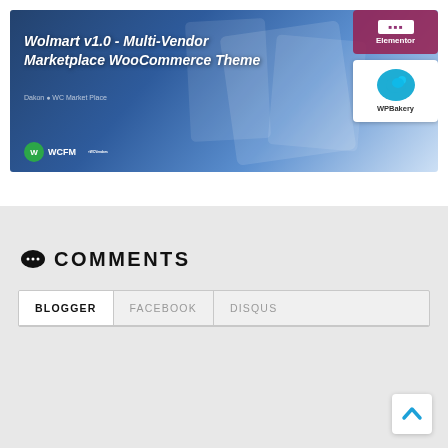[Figure (screenshot): Screenshot of a WordPress theme product page for 'Wolmart v1.0 - Multi-Vendor Marketplace WooCommerce Theme' showing plugin badges for Elementor and WPBakery, and logos for WCFM and WCVendors.]
💬 COMMENTS
BLOGGER | FACEBOOK | DISQUS